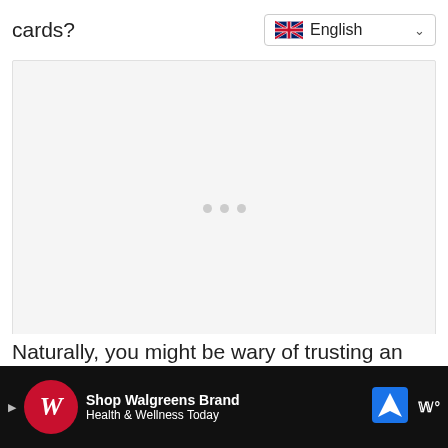cards?
[Figure (screenshot): A loading placeholder content box with light gray background and three small gray dots centered, indicating content is loading]
Naturally, you might be wary of trusting an
[Figure (other): Advertisement bar at bottom: Walgreens Brand - Shop Walgreens Brand Health & Wellness Today with Walgreens logo and navigation icons]